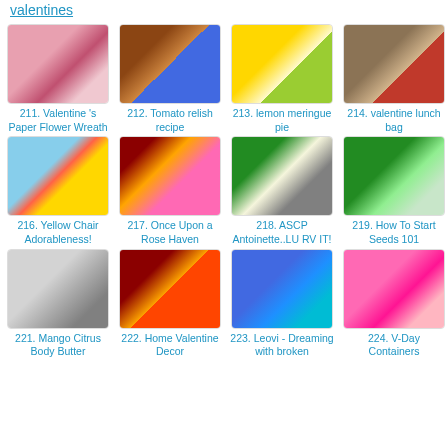valentines
211. Valentine's Paper Flower Wreath
212. Tomato relish recipe
213. lemon meringue pie
214. valentine lunch bag
216. Yellow Chair Adorableness!
217. Once Upon a Rose Haven
218. ASCP Antoinette..LURV IT!
219. How To Start Seeds 101
221. Mango Citrus Body Butter
222. Home Valentine Decor
223. Leovi - Dreaming with broken
224. V-Day Containers